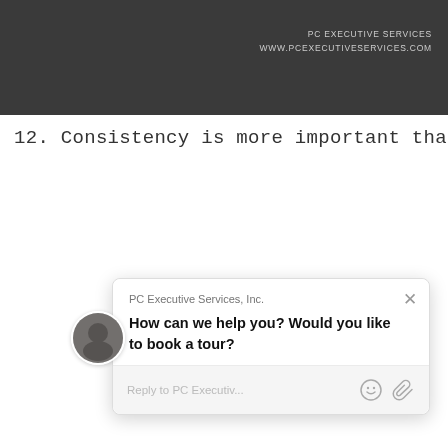[Figure (screenshot): Dark grey header banner with PC Executive Services branding showing company name and website URL in light grey text on dark background]
PC EXECUTIVE SERVICES
WWW.PCEXECUTIVESERVICES.COM
12. Consistency is more important than perfection.
[Figure (screenshot): Chat popup widget from PC Executive Services, Inc. showing a message 'How can we help you? Would you like to book a tour?' with a reply input field, emoji icon, attachment icon, and a circular avatar photo. A yellow chat bubble button with a red badge showing '1' appears in the bottom right corner.]